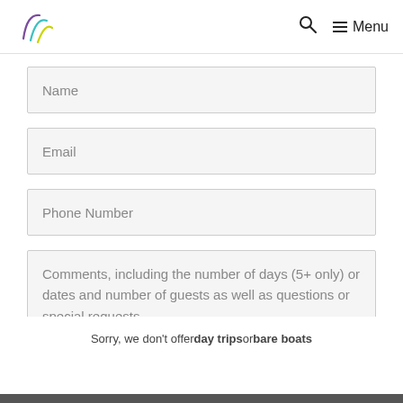Logo | Search | Menu
Name
Email
Phone Number
Comments, including the number of days (5+ only) or dates and number of guests as well as questions or special requests.
Sorry, we don't offer day trips or bare boats